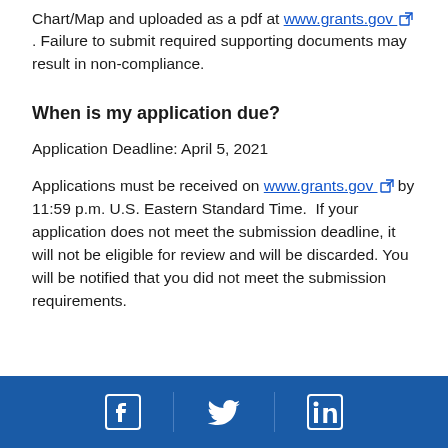Chart/Map and uploaded as a pdf at www.grants.gov. Failure to submit required supporting documents may result in non-compliance.
When is my application due?
Application Deadline: April 5, 2021
Applications must be received on www.grants.gov by 11:59 p.m. U.S. Eastern Standard Time. If your application does not meet the submission deadline, it will not be eligible for review and will be discarded. You will be notified that you did not meet the submission requirements.
Social media icons: Facebook, Twitter, LinkedIn